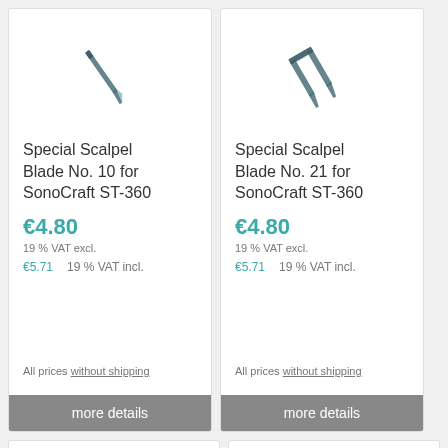[Figure (photo): Scalpel blade No. 10 for SonoCraft ST-360, angled blade illustration on white background]
Special Scalpel Blade No. 10 for SonoCraft ST-360
€4.80
19 % VAT excl.
€5.71  19 % VAT incl.
All prices without shipping
more details
[Figure (photo): Scalpel blade No. 21 for SonoCraft ST-360, wider blade illustration on white background]
Special Scalpel Blade No. 21 for SonoCraft ST-360
€4.80
19 % VAT excl.
€5.71  19 % VAT incl.
All prices without shipping
more details